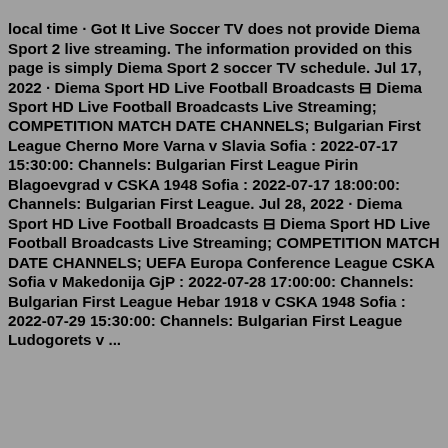local time · Got It Live Soccer TV does not provide Diema Sport 2 live streaming. The information provided on this page is simply Diema Sport 2 soccer TV schedule. Jul 17, 2022 · Diema Sport HD Live Football Broadcasts ⊟ Diema Sport HD Live Football Broadcasts Live Streaming; COMPETITION MATCH DATE CHANNELS; Bulgarian First League Cherno More Varna v Slavia Sofia : 2022-07-17 15:30:00: Channels: Bulgarian First League Pirin Blagoevgrad v CSKA 1948 Sofia : 2022-07-17 18:00:00: Channels: Bulgarian First League. Jul 28, 2022 · Diema Sport HD Live Football Broadcasts ⊟ Diema Sport HD Live Football Broadcasts Live Streaming; COMPETITION MATCH DATE CHANNELS; UEFA Europa Conference League CSKA Sofia v Makedonija GjP : 2022-07-28 17:00:00: Channels: Bulgarian First League Hebar 1918 v CSKA 1948 Sofia : 2022-07-29 15:30:00: Channels: Bulgarian First League Ludogorets v ...